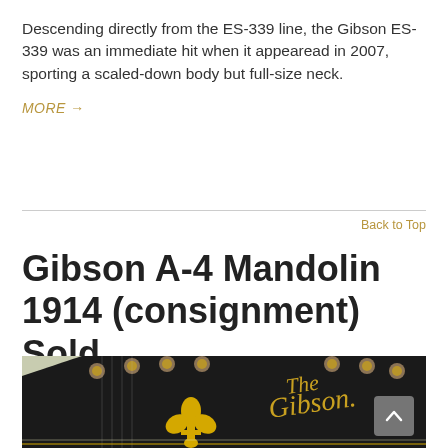Descending directly from the ES-339 line, the Gibson ES-339 was an immediate hit when it appearead in 2007, sporting a scaled-down body but full-size neck.
MORE →
Back to Top
Gibson A-4 Mandolin 1914 (consignment) Sold
[Figure (photo): Close-up photograph of a Gibson A-4 Mandolin headstock from 1914, showing tuning pegs, gold fleur-de-lis inlay, and 'The Gibson' script logo on a black headstock against a green background.]